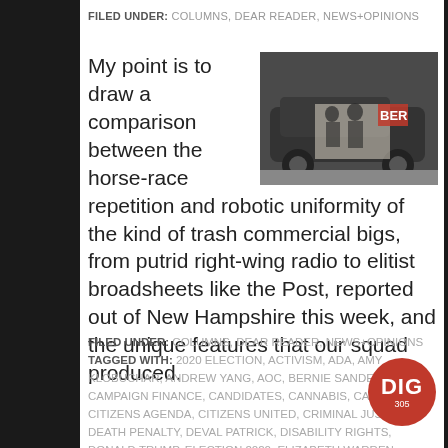FILED UNDER: COLUMNS, DEAR READER, NEWS+OPINIONS
My point is to draw a comparison between the horse-race repetition and robotic uniformity of the kind of trash commercial bigs, from putrid right-wing radio to elitist broadsheets like the Post, reported out of New Hampshire this week, and the unique features that our squad produced.
[Figure (photo): A car with political artwork/graffiti on its side, showing figures and text including 'BER', photographed outdoors]
FILED UNDER: COLUMNS, DEAR READER, NEWS+OPINIONS
TAGGED WITH: 2020 ELECTION, ACTIVISM, ADA, AMY KLOBUCHAR, ANDREW YANG, AOC, BERNIE SANDERS, CAMPAIGN FINANCE, CANDIDATES, CANNABIS, CAREGIVING, CITIZENS AGENDA, CITIZENS UNITED, CRIMINAL JUSTICE, DEATH PENALTY, DEVAL PATRICK, DISABILITY RIGHTS, DONALD TRUMP, ELECTION 2020, ELIZABETH WARREN, ENGAGEMENT, FIREARMS, GIG ECONOMY, GRANITE STATE ORGANIZING
[Figure (logo): DIG 305 circular red logo]